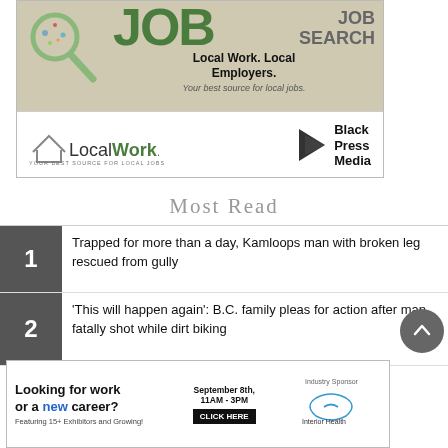[Figure (infographic): Job Search advertisement with LocalWork.ca and Black Press Media logos. Shows 'JOB SEARCH' text in large green and grey letters with magnifying glass graphic. Text: 'Local Work. Local Employers.' and 'Your best source for local jobs.']
Most Read
1 Trapped for more than a day, Kamloops man with broken leg rescued from gully
2 'This will happen again': B.C. family pleas for action after man fatally shot while dirt biking
[Figure (infographic): Banner ad: Looking for work or a new career? September 8th, 11AM-3PM. Featuring 15+ Exhibitors and Growing! CLICK HERE. Industry Sponsor: Interior Health]